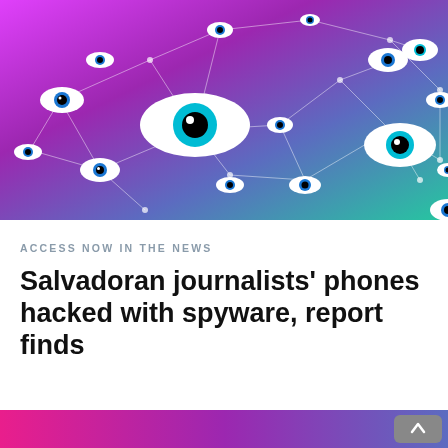[Figure (illustration): Colorful digital illustration with gradient background (pink, purple, blue, green) showing a network of connected eyes (evil eye / all-seeing eye symbols) linked by white lines on a dark gradient background. Eyes vary in size, with one large central eye. The image represents digital surveillance.]
ACCESS NOW IN THE NEWS
Salvadoran journalists' phones hacked with spyware, report finds
[Figure (photo): Partial bottom strip showing the top of another article's hero image with pink/purple gradient and what appears to be phones or devices.]